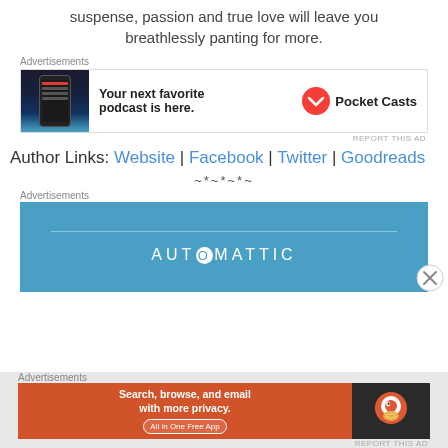suspense, passion and true love will leave you breathlessly panting for more.
[Figure (other): Pocket Casts advertisement banner: phone app screenshot on left, 'Your next favorite podcast is here.' text, Pocket Casts logo and brand name on right]
Author Links: Website | Facebook | Twitter | Goodreads
~*~*~*~
[Figure (other): Automattic advertisement: blue background with thin horizontal line above AUTOMATTIC text in white letters]
[Figure (other): DuckDuckGo advertisement: orange section with 'Search, browse, and email with more privacy. All in One Free App', dark section with DuckDuckGo logo]